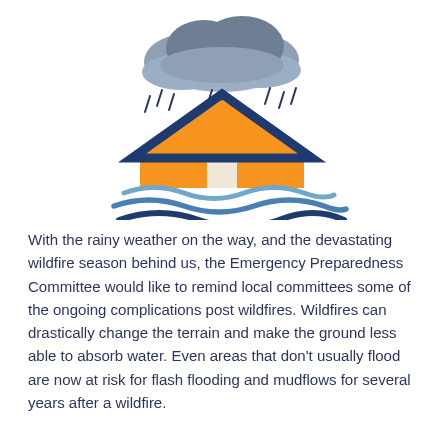[Figure (illustration): Flood preparedness illustration: dark storm clouds with rain drops above an orange house with a dark navy blue roof outline, with blue flood water waves beneath the house.]
With the rainy weather on the way, and the devastating wildfire season behind us, the Emergency Preparedness Committee would like to remind local committees some of the ongoing complications post wildfires. Wildfires can drastically change the terrain and make the ground less able to absorb water. Even areas that don't usually flood are now at risk for flash flooding and mudflows for several years after a wildfire.